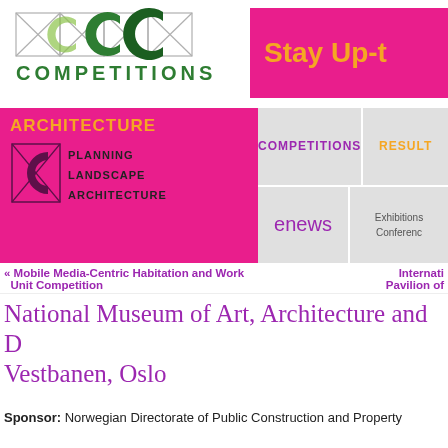[Figure (logo): MCC Competitions logo with geometric X pattern and green C shapes, with text COMPETITIONS in green]
[Figure (logo): Stay Up-t banner in magenta/pink background with orange-yellow bold text]
[Figure (screenshot): Navigation menu: ARCHITECTURE section in magenta with PLANNING, LANDSCAPE, ARCHITECTURE links; COMPETITIONS and RESULTS buttons; enews and Exhibitions/Conferences cells]
« Mobile Media-Centric Habitation and Work Unit Competition    International Pavilion of
National Museum of Art, Architecture and D Vestbanen, Oslo
Sponsor: Norwegian Directorate of Public Construction and Property
Type: open, two-stage
Eligibility: licensed architects